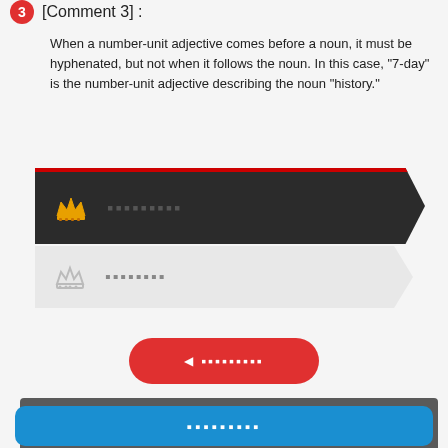[Comment 3] :
When a number-unit adjective comes before a noun, it must be hyphenated, but not when it follows the noun. In this case, “7-day” is the number-unit adjective describing the noun “history.”
[Figure (infographic): Dark banner card with gold crown icon and redacted/placeholder text (squares), indicating a premium tier label. Has a red top border and dark chevron shape.]
[Figure (infographic): Light gray banner card with gray crown icon and redacted/placeholder text (squares), indicating a standard tier label. Has a chevron shape.]
[Figure (infographic): Red rounded pill button with a left-pointing play arrow icon and redacted placeholder text.]
[Figure (infographic): Dark gray panel at bottom with placeholder text on left and thumbs-up icon on right. Below it is a blue rounded button overlay with placeholder text.]